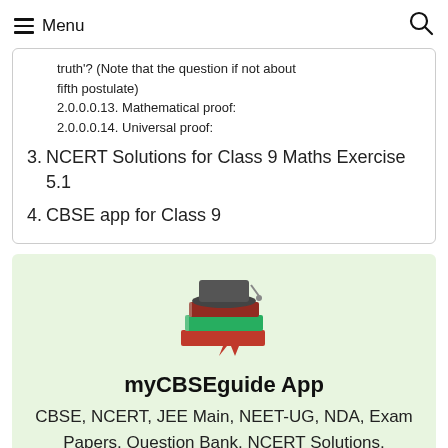Menu
truth'? (Note that the question if not about fifth postulate)
2.0.0.0.13. Mathematical proof:
2.0.0.0.14. Universal proof:
3. NCERT Solutions for Class 9 Maths Exercise 5.1
4. CBSE app for Class 9
[Figure (illustration): Stack of books with a graduation cap on top, used as myCBSEguide App logo]
myCBSEguide App
CBSE, NCERT, JEE Main, NEET-UG, NDA, Exam Papers, Question Bank, NCERT Solutions, Exemplars, Revision Notes, Free Videos, MCQ